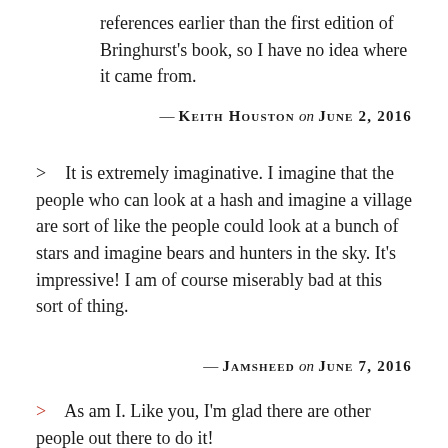references earlier than the first edition of Bringhurst's book, so I have no idea where it came from.
— KEITH HOUSTON on JUNE 2, 2016
> It is extremely imaginative. I imagine that the people who can look at a hash and imagine a village are sort of like the people could look at a bunch of stars and imagine bears and hunters in the sky. It's impressive! I am of course miserably bad at this sort of thing.
— JAMSHEED on JUNE 7, 2016
> As am I. Like you, I'm glad there are other people out there to do it!